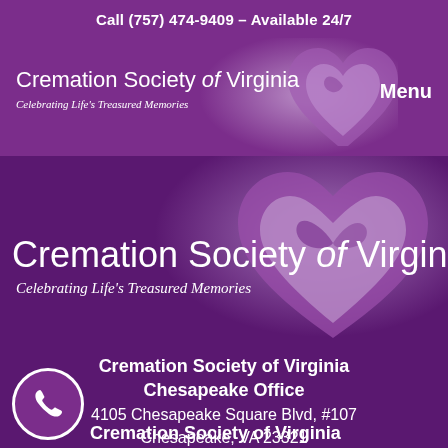Call (757) 474-9409 – Available 24/7
[Figure (logo): Cremation Society of Virginia logo with heart graphic in header band, with Menu button]
[Figure (logo): Cremation Society of Virginia large logo with heart graphic on dark purple background]
Cremation Society of Virginia Chesapeake Office
4105 Chesapeake Square Blvd, #107
Chesapeake, VA 23321
(757) 966-2866
[Figure (other): Phone icon in purple circle]
Cremation Society of Virginia